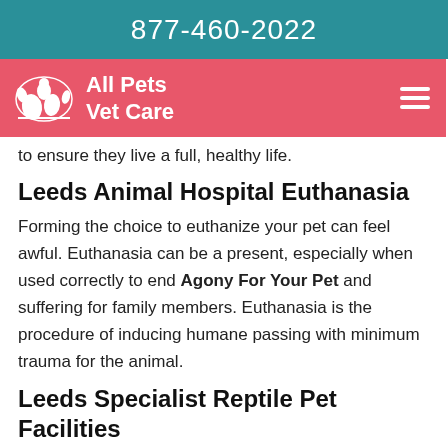877-460-2022
[Figure (logo): All Pets Vet Care logo with white silhouette of pets and text 'All Pets Vet Care' on pink/salmon background with hamburger menu icon]
to ensure they live a full, healthy life.
Leeds Animal Hospital Euthanasia
Forming the choice to euthanize your pet can feel awful. Euthanasia can be a present, especially when used correctly to end Agony For Your Pet and suffering for family members. Euthanasia is the procedure of inducing humane passing with minimum trauma for the animal.
Leeds Specialist Reptile Pet Facilities
Leeds All Pets Vet Care's proficiency, joined with an unaltered appreciation for these unique pets, enables us to provide the Best Medical Treatment For Your Reptile At